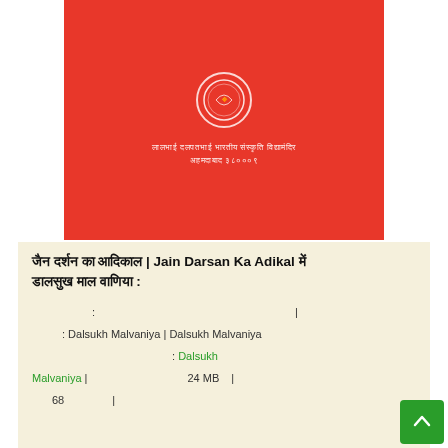[Figure (illustration): Red book cover with circular emblem/seal in white, and Hindi text below the emblem reading institution name and location (Lalbhai Dalpatbhai Bharatiya Sanskriti Vidyamandir, Ahmedabad 380009)]
जैन दर्शन का आदिकाल | Jain Darsan Ka Adikal में डालसुख माल वाणिया :
: | : Dalsukh Malvaniya | Dalsukh Malvaniya : Dalsukh Malvaniya | 24 MB | 68 |